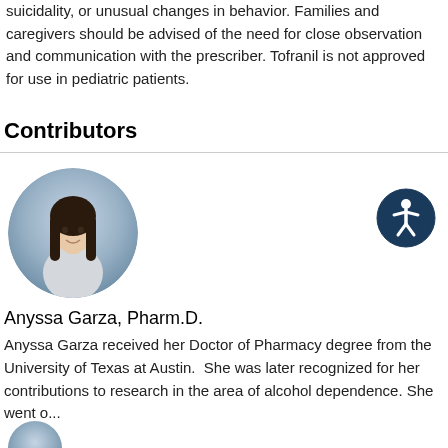suicidality, or unusual changes in behavior. Families and caregivers should be advised of the need for close observation and communication with the prescriber. Tofranil is not approved for use in pediatric patients.
Contributors
[Figure (photo): Circular profile photo of Anyssa Garza, a woman with long dark hair wearing a white coat, against a blue-grey gradient background]
[Figure (logo): Accessibility icon: white figure with arms and legs spread inside a dark navy blue circle]
Anyssa Garza, Pharm.D.
Anyssa Garza received her Doctor of Pharmacy degree from the University of Texas at Austin.  She was later recognized for her contributions to research in the area of alcohol dependence. She went o...
[Figure (photo): Partial circular profile photo, cropped at bottom of page]